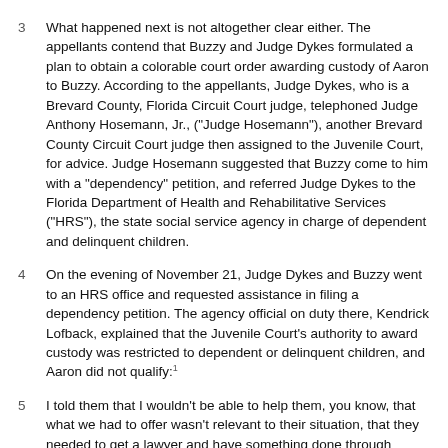3  What happened next is not altogether clear either. The appellants contend that Buzzy and Judge Dykes formulated a plan to obtain a colorable court order awarding custody of Aaron to Buzzy. According to the appellants, Judge Dykes, who is a Brevard County, Florida Circuit Court judge, telephoned Judge Anthony Hosemann, Jr., ("Judge Hosemann"), another Brevard County Circuit Court judge then assigned to the Juvenile Court, for advice. Judge Hosemann suggested that Buzzy come to him with a "dependency" petition, and referred Judge Dykes to the Florida Department of Health and Rehabilitative Services ("HRS"), the state social service agency in charge of dependent and delinquent children.
4  On the evening of November 21, Judge Dykes and Buzzy went to an HRS office and requested assistance in filing a dependency petition. The agency official on duty there, Kendrick Lofback, explained that the Juvenile Court's authority to award custody was restricted to dependent or delinquent children, and Aaron did not qualify:[1]
5  I told them that I wouldn't be able to help them, you know, that what we had to offer wasn't relevant to their situation, that they needed to get a lawyer and have something done through Circuit Court.